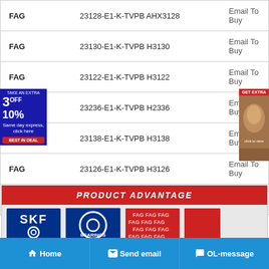| Brand | Model | Action |
| --- | --- | --- |
| FAG | 23128-E1-K-TVPB AHX3128 | Email To Buy |
| FAG | 23130-E1-K-TVPB H3130 | Email To Buy |
| FAG | 23122-E1-K-TVPB H3122 | Email To Buy |
| FAG | 23236-E1-K-TVPB H2336 | Email To Buy |
| FAG | 23138-E1-K-TVPB H3138 | Email To Buy |
| FAG | 23126-E1-K-TVPB H3126 | Email To Buy |
| FAG | 23122-E1-K-TVPB | Email To Buy |
[Figure (infographic): Product Advantage banner with SKF, NSK, FAG brand logos]
Home   Send email   OL-message